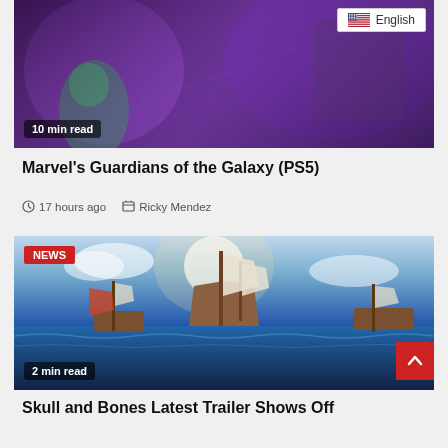[Figure (screenshot): Top banner image showing Marvel's Guardians of the Galaxy game artwork with purple sci-fi visuals. Overlay shows 'English' language badge and '10 min read' badge.]
Marvel's Guardians of the Galaxy (PS5)
17 hours ago  Ricky Mendez
[Figure (screenshot): Skull and Bones pirate ship battle scene with tall sailing ships on ocean waters. NEWS badge in top-left, '2 min read' badge bottom-left, scroll-to-top button bottom-right.]
Skull and Bones Latest Trailer Shows Off